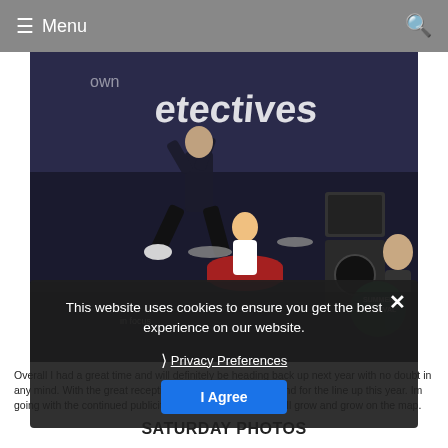≡ Menu
[Figure (photo): Concert photo of a band on stage with a banner reading 'Detectives'. A performer is jumping high in the air, a drummer is visible in the background, and a guitarist is on the right. A Summer Festival logo is visible in the bottom right corner.]
This website uses cookies to ensure you get the best experience on our website.
Privacy Preferences
I Agree
Overall I had a great time and will definitely be heading back up next year with no doubt in any mind. With the great reception from all staff, security and for the line up this year. Im going with the continued publicity of this little (Big) fest it will grow and grow on the map.
SATURDAY PHOTOS